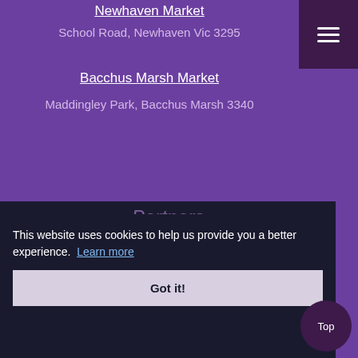Newhaven Market
School Road, Newhaven Vic 3295
Bacchus Marsh Market
Maddingley Park, Bacchus Marsh 3340
Partners
This website uses cookies to help us provide you a better experience. Learn more
Got it!